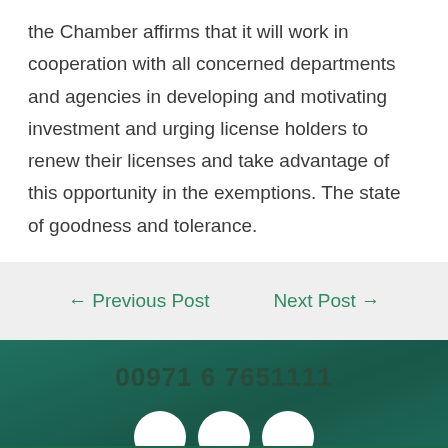the Chamber affirms that it will work in cooperation with all concerned departments and agencies in developing and motivating investment and urging license holders to renew their licenses and take advantage of this opportunity in the exemptions. The state of goodness and tolerance.
← Previous Post    Next Post →
00971 6 7651111   Call Us